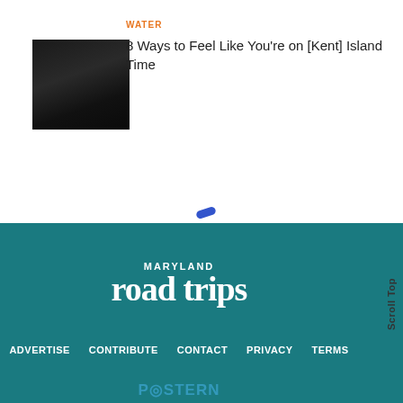[Figure (photo): Dark thumbnail photo, appears to be a landscape or water scene with very dark tones]
WATER
8 Ways to Feel Like You're on [Kent] Island Time
[Figure (other): Blue loading spinner/dot indicator in center of page]
[Figure (logo): Maryland Road Trips logo - white text on teal background, 'MARYLAND' in small caps above large 'road trips' serif text]
ADVERTISE   CONTRIBUTE   CONTACT   PRIVACY   TERMS
[Figure (logo): POSTERN marketing logo in blue-grey text at bottom of footer]
Scroll Top